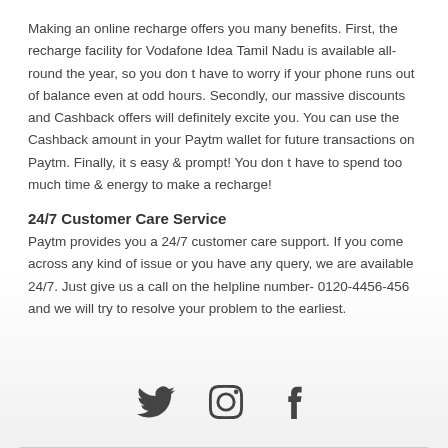Making an online recharge offers you many benefits. First, the recharge facility for Vodafone Idea Tamil Nadu is available all-round the year, so you don t have to worry if your phone runs out of balance even at odd hours. Secondly, our massive discounts and Cashback offers will definitely excite you. You can use the Cashback amount in your Paytm wallet for future transactions on Paytm. Finally, it s easy & prompt! You don t have to spend too much time & energy to make a recharge!
24/7 Customer Care Service
Paytm provides you a 24/7 customer care support. If you come across any kind of issue or you have any query, we are available 24/7. Just give us a call on the helpline number- 0120-4456-456 and we will try to resolve your problem to the earliest.
[Figure (other): Social media icons: Twitter (bird), Instagram (camera), Facebook (f)]